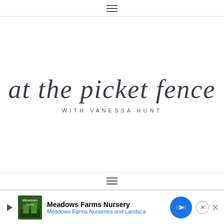☰ (hamburger menu icon)
at the picket fence
WITH VANESSA HUNT
☰ (hamburger menu icon)
Meadows Farms Nursery - Meadows Farms Nurseries and Landsca